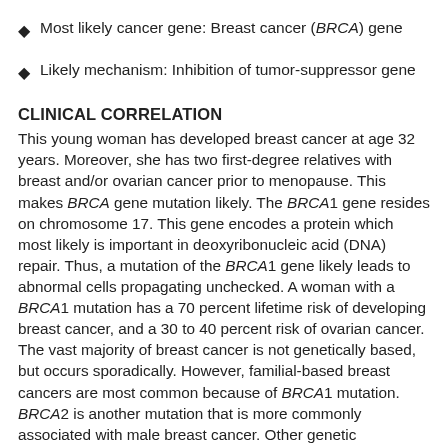Most likely cancer gene: Breast cancer (BRCA) gene
Likely mechanism: Inhibition of tumor-suppressor gene
CLINICAL CORRELATION
This young woman has developed breast cancer at age 32 years. Moreover, she has two first-degree relatives with breast and/or ovarian cancer prior to menopause. This makes BRCA gene mutation likely. The BRCA1 gene resides on chromosome 17. This gene encodes a protein which most likely is important in deoxyribonucleic acid (DNA) repair. Thus, a mutation of the BRCA1 gene likely leads to abnormal cells propagating unchecked. A woman with a BRCA1 mutation has a 70 percent lifetime risk of developing breast cancer, and a 30 to 40 percent risk of ovarian cancer. The vast majority of breast cancer is not genetically based, but occurs sporadically. However, familial-based breast cancers are most common because of BRCA1 mutation. BRCA2 is another mutation that is more commonly associated with male breast cancer. Other genetic mechanisms of cancer include oncogenes, which are